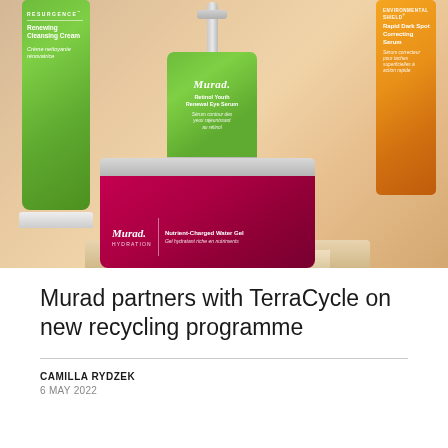[Figure (photo): Murad skincare products arranged on beige/cream coloured risers/platforms: a green tube (Resurgence Renewing Cleansing Cream), a centre silver pump bottle with green label (Murad Retinol Youth Renewal Eye Serum), an orange bottle (Environmental Shield Rapid Dark Spot Correcting Serum), and a deep red/magenta jar (Murad Hydration Nutrient-Charged Water Gel)]
Murad partners with TerraCycle on new recycling programme
CAMILLA RYDZEK
6 MAY 2022